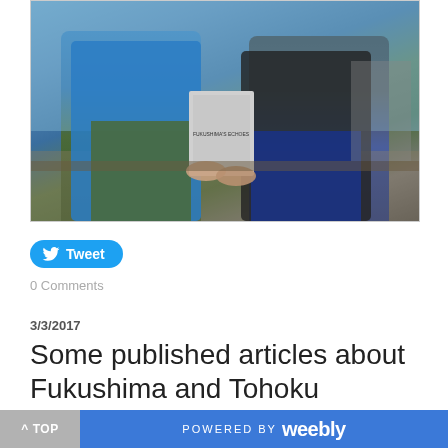[Figure (photo): Two people sitting outdoors holding a book, one wearing a blue jacket and the other wearing dark clothing]
Tweet
0 Comments
3/3/2017
Some published articles about Fukushima and Tohoku
[Figure (screenshot): Partial thumbnail of a Time Out article]
^ TOP   POWERED BY weebly